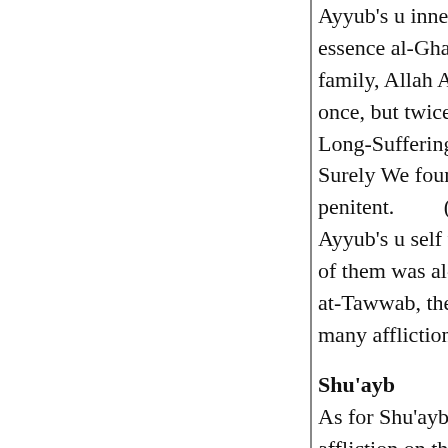Ayyub's u inner truth and spiritual reality was... essence al-Ghani, the Wealthy, for after he ha... family, Allah Almighty gave back to him wha... once, but twice. His heart and mind were of th... Long-Suffering, the Patient, inasmuch as the A...
Surely We found him a steadfast man. How e... penitent.         (Sa`ad, 44)
Ayyub's u self was made from the light of two... of them was al-Wasi', the Copious, the Comp... at-Tawwab, the Oft-Returning, the Penitent. F... many afflictions, and returned always to his L...
Shu'ayb
As for Shu'ayb u: following the Prophet Ayyu... affliction on the path of love, Allah Almighty... consumed by a fervent desire to be united in t...
Thus Shu'ayb u was sent to the material worl... for three hundred years, and thrice he became... opened and he saw again. His inner truth and... name of the divine essence al-Majid, the Illus... his people and earned the title of "preacher of...